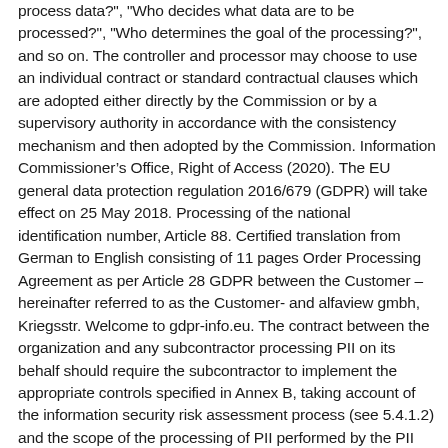process data?", "Who decides what data are to be processed?", "Who determines the goal of the processing?", and so on. The controller and processor may choose to use an individual contract or standard contractual clauses which are adopted either directly by the Commission or by a supervisory authority in accordance with the consistency mechanism and then adopted by the Commission. Information Commissioner's Office, Right of Access (2020). The EU general data protection regulation 2016/679 (GDPR) will take effect on 25 May 2018. Processing of the national identification number, Article 88. Certified translation from German to English consisting of 11 pages Order Processing Agreement as per Article 28 GDPR between the Customer – hereinafter referred to as the Customer- and alfaview gmbh, Kriegsstr. Welcome to gdpr-info.eu. The contract between the organization and any subcontractor processing PII on its behalf should require the subcontractor to implement the appropriate controls specified in Annex B, taking account of the information security risk assessment process (see 5.4.1.2) and the scope of the processing of PII performed by the PII processor.